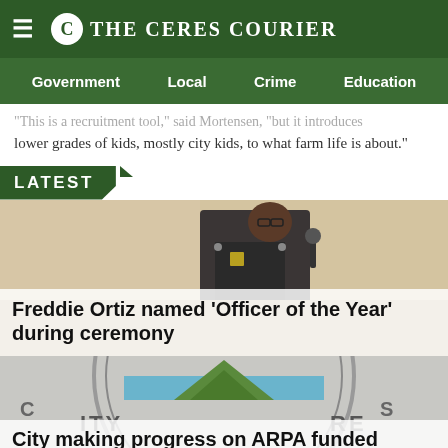≡  C THE CERES COURIER
Government   Local   Crime   Education
"This is a recruitment tool," said Mortensen, "but it introduces lower grades of kids, mostly city kids, to what farm life is about."
LATEST
[Figure (photo): Photo of a police officer in uniform, side profile, at a podium with a microphone, in a meeting room setting.]
Freddie Ortiz named 'Officer of the Year' during ceremony
[Figure (photo): City of Ceres seal/logo showing mountains and water, partial circular seal visible.]
City making progress on ARPA funded projects